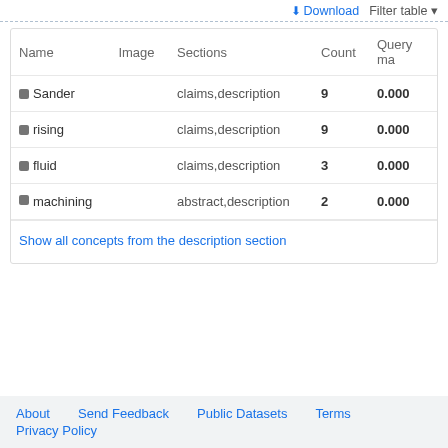Download   Filter table
| Name | Image | Sections | Count | Query ma |
| --- | --- | --- | --- | --- |
| Sander |  | claims,description | 9 | 0.000 |
| rising |  | claims,description | 9 | 0.000 |
| fluid |  | claims,description | 3 | 0.000 |
| machining |  | abstract,description | 2 | 0.000 |
Show all concepts from the description section
About   Send Feedback   Public Datasets   Terms   Privacy Policy